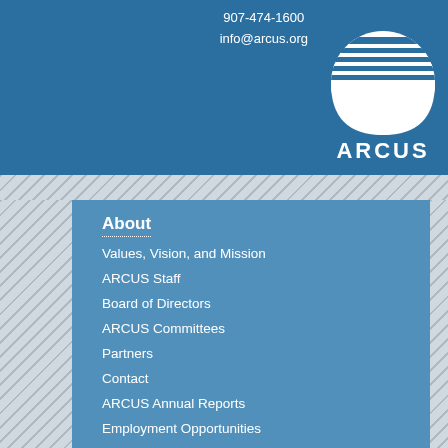907-474-1600
info@arcus.org
[Figure (logo): ARCUS logo with stylized arc/globe shape above the text ARCUS]
About
Values, Vision, and Mission
ARCUS Staff
Board of Directors
ARCUS Committees
Partners
Contact
ARCUS Annual Reports
Employment Opportunities
Privacy Policy
Services
ARCUS Logo
Membership